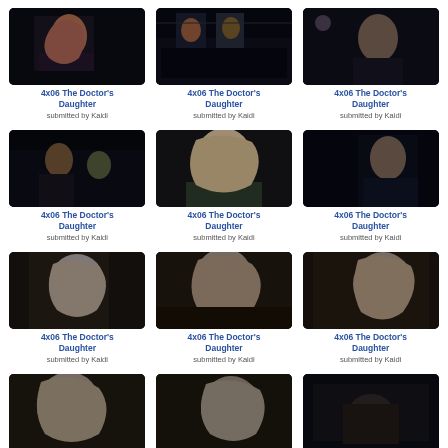[Figure (photo): TV screenshot - woman with red hair looking upward, dark background]
4x06 The Doctor's Daughter
submitted by Kaidi
[Figure (photo): TV screenshot - two people standing in dark mechanical setting]
4x06 The Doctor's Daughter
submitted by Kaidi
[Figure (photo): TV screenshot - person in dark mechanical setting]
4x06 The Doctor's Daughter
submitted by Kaidi
[Figure (photo): TV screenshot - boy and people in dark industrial setting]
4x06 The Doctor's Daughter
submitted by Kaidi
[Figure (photo): TV screenshot - blonde woman looking up, green top]
4x06 The Doctor's Daughter
submitted by Kaidi
[Figure (photo): TV screenshot - person in blue dark setting]
4x06 The Doctor's Daughter
submitted by Kaidi
[Figure (photo): TV screenshot - older man with grey hair, close-up]
4x06 The Doctor's Daughter
submitted by Kaidi
[Figure (photo): TV screenshot - older man with grey hair turned away]
4x06 The Doctor's Daughter
submitted by Kaidi
[Figure (photo): TV screenshot - older man with grey hair profile]
4x06 The Doctor's Daughter
submitted by Kaidi
[Figure (photo): TV screenshot - older man facing camera]
4x06 The Doctor's Daughter
[Figure (photo): TV screenshot - older man profile facing right]
4x06 The Doctor's Daughter
[Figure (photo): TV screenshot - dark scene with hand/figure]
4x06 The Doctor's Daughter